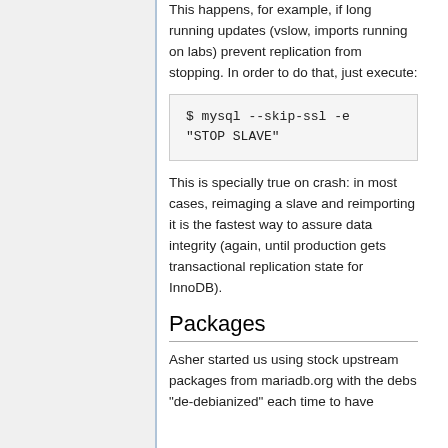This happens, for example, if long running updates (vslow, imports running on labs) prevent replication from stopping. In order to do that, just execute:
$ mysql --skip-ssl -e
"STOP SLAVE"
This is specially true on crash: in most cases, reimaging a slave and reimporting it is the fastest way to assure data integrity (again, until production gets transactional replication state for InnoDB).
Packages
Asher started us using stock upstream packages from mariadb.org with the debs "de-debianized" each time to have